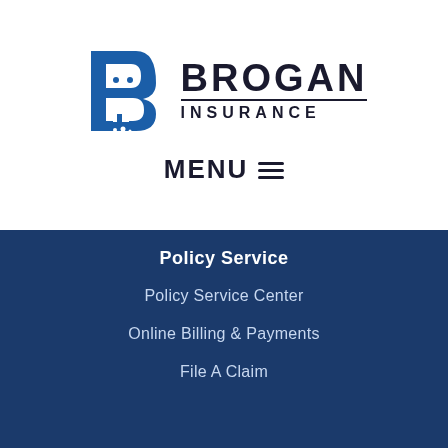[Figure (logo): Brogan Insurance logo with stylized blue B containing car and house/family icons, followed by BROGAN INSURANCE text]
MENU ≡
Policy Service
Policy Service Center
Online Billing & Payments
File A Claim